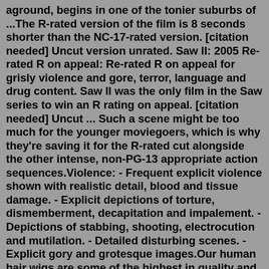aground, begins in one of the tonier suburbs of ...The R-rated version of the film is 8 seconds shorter than the NC-17-rated version. [citation needed] Uncut version unrated. Saw II: 2005 Re-rated R on appeal: Re-rated R on appeal for grisly violence and gore, terror, language and drug content. Saw II was the only film in the Saw series to win an R rating on appeal. [citation needed] Uncut ... Such a scene might be too much for the younger moviegoers, which is why they're saving it for the R-rated cut alongside the other intense, non-PG-13 appropriate action sequences.Violence: - Frequent explicit violence shown with realistic detail, blood and tissue damage. - Explicit depictions of torture, dismemberment, decapitation and impalement. - Depictions of stabbing, shooting, electrocution and mutilation. - Detailed disturbing scenes. - Explicit gory and grotesque images.Our human hair wigs are some of the highest in quality and offer a natural looking style and soft feel. Regardless of which wig type you